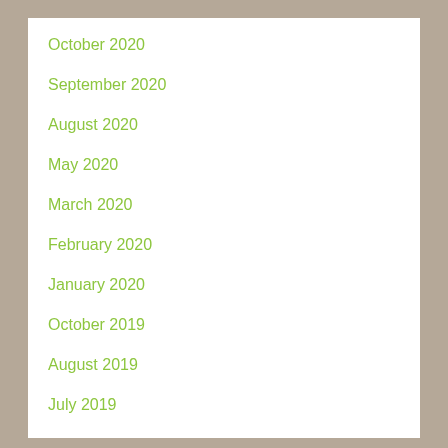October 2020
September 2020
August 2020
May 2020
March 2020
February 2020
January 2020
October 2019
August 2019
July 2019
June 2019